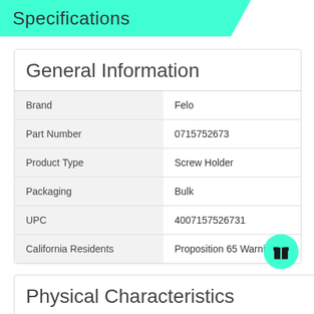Specifications
General Information
|  |  |
| --- | --- |
| Brand | Felo |
| Part Number | 0715752673 |
| Product Type | Screw Holder |
| Packaging | Bulk |
| UPC | 4007157526731 |
| California Residents | Proposition 65 Warning |
Physical Characteristics